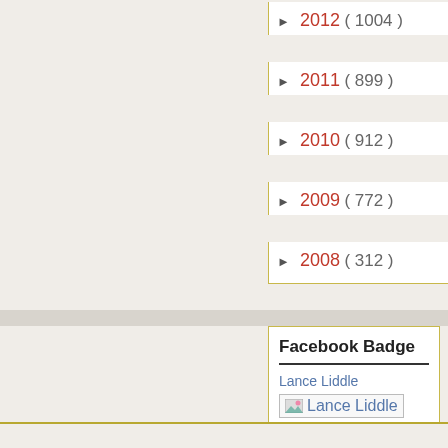► 2012 ( 1004 )
► 2011 ( 899 )
► 2010 ( 912 )
► 2009 ( 772 )
► 2008 ( 312 )
Facebook Badge
Lance Liddle
[Figure (other): Broken image placeholder for Lance Liddle Facebook badge photo with text 'Lance Liddle']
Create your badge